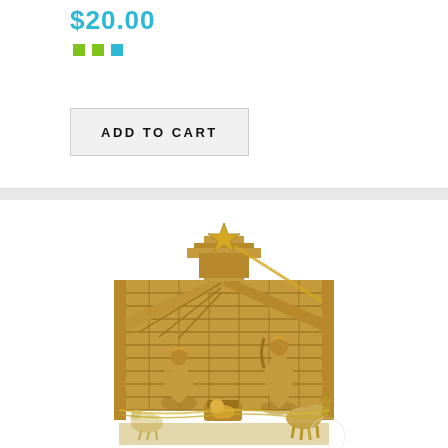$20.00
[Figure (illustration): Two small colored square dots: one yellow-green and one teal/blue, used as rating or color selector indicators]
ADD TO CART
[Figure (photo): Olive wood nativity scene with carved figures of Mary, Joseph, baby Jesus, animals, and a wooden stable with star on top]